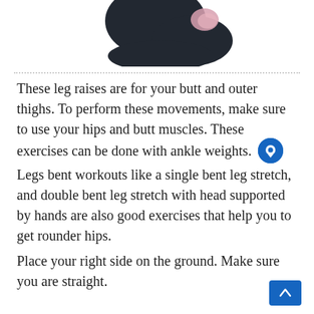[Figure (illustration): Partial illustration of a dark-colored cartoon leg/foot with a pink highlight at the top, viewed from the side against a white background.]
These leg raises are for your butt and outer thighs. To perform these movements, make sure to use your hips and butt muscles. These exercises can be done with ankle weights. Legs bent workouts like a single bent leg stretch, and double bent leg stretch with head supported by hands are also good exercises that help you to get rounder hips.
Place your right side on the ground. Make sure you are straight.